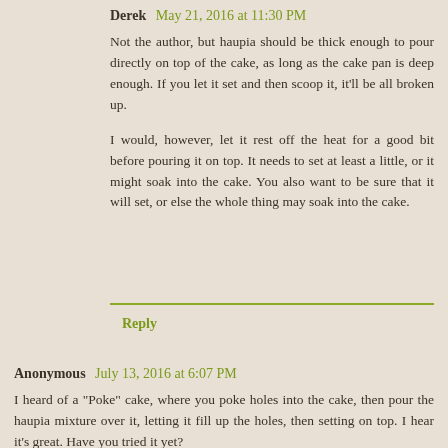Derek May 21, 2016 at 11:30 PM
Not the author, but haupia should be thick enough to pour directly on top of the cake, as long as the cake pan is deep enough. If you let it set and then scoop it, it'll be all broken up.

I would, however, let it rest off the heat for a good bit before pouring it on top. It needs to set at least a little, or it might soak into the cake. You also want to be sure that it will set, or else the whole thing may soak into the cake.
Reply
Anonymous July 13, 2016 at 6:07 PM
I heard of a "Poke" cake, where you poke holes into the cake, then pour the haupia mixture over it, letting it fill up the holes, then setting on top. I hear it's great. Have you tried it yet?